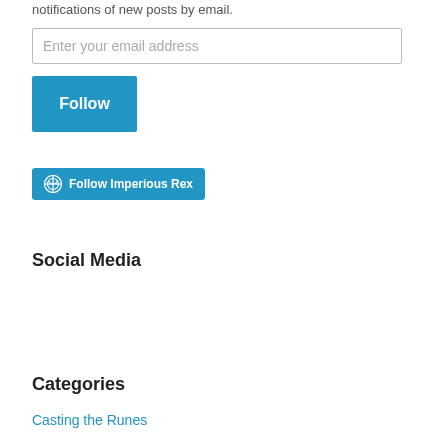notifications of new posts by email.
Enter your email address
Follow
[Figure (other): WordPress Follow Imperious Rex button — blue rounded rectangle with WordPress logo and text 'Follow Imperious Rex']
Social Media
Categories
Casting the Runes